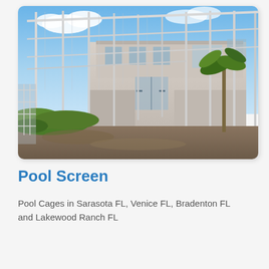[Figure (photo): Large pool screen enclosure with white aluminum frame and clear screening covering a multi-story residential building. Green hedges and landscaping in foreground, blue sky with clouds in background.]
Pool Screen
Pool Cages in Sarasota FL, Venice FL, Bradenton FL and Lakewood Ranch FL